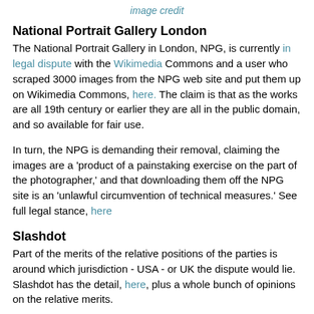image credit
National Portrait Gallery London
The National Portrait Gallery in London, NPG, is currently in legal dispute with the Wikimedia Commons and a user who scraped 3000 images from the NPG web site and put them up on Wikimedia Commons, here. The claim is that as the works are all 19th century or earlier they are all in the public domain, and so available for fair use.
In turn, the NPG is demanding their removal, claiming the images are a 'product of a painstaking exercise on the part of the photographer,' and that downloading them off the NPG site is an 'unlawful circumvention of technical measures.' See full legal stance, here
Slashdot
Part of the merits of the relative positions of the parties is around which jurisdiction - USA - or UK the dispute would lie. Slashdot has the detail, here, plus a whole bunch of opinions on the relative merits.